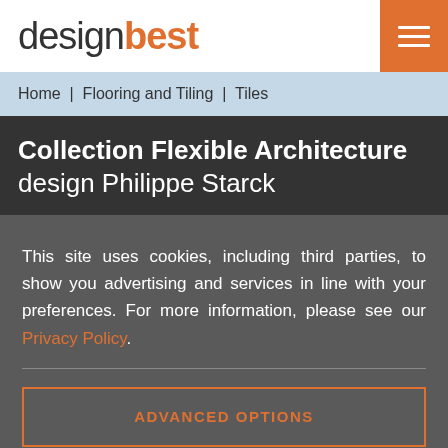designbest
Home | Flooring and Tiling | Tiles
Collection Flexible Architecture design Philippe Starck
This site uses cookies, including third parties, to show you advertising and services in line with your preferences. For more information, please see our Privacy Policy.
ADVANCED OPTIONS
ACCEPT ALL